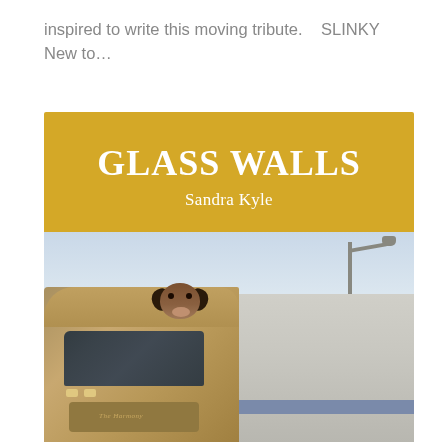inspired to write this moving tribute.    SLINKY
New to…
[Figure (photo): Book cover of 'Glass Walls' by Sandra Kyle. The cover has a golden yellow top section with the title 'GLASS WALLS' in large bold white serif font and 'Sandra Kyle' in white below it. The bottom half shows a photograph of a livestock transport truck with a cow's head visible peering over the top of the truck cab, and a street lamp in the background.]